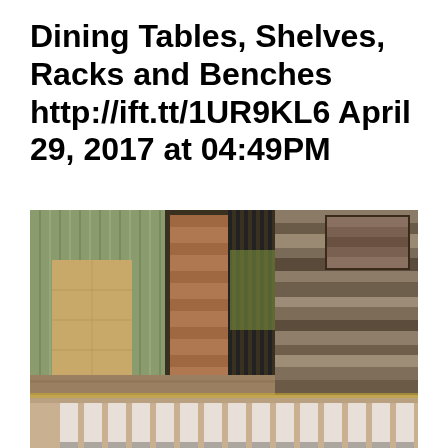Dining Tables, Shelves, Racks and Benches http://ift.tt/1UR9KL6 April 29, 2017 at 04:49PM
[Figure (photo): A workshop/garage scene showing a wooden pallet-style headboard or wall panel made of horizontal reclaimed wood planks with varying shades of grey and brown, a recessed rectangular niche, and a bed frame with white slat rails in the foreground. Behind: plywood sheets leaning against a green corrugated metal wall, an orange extension cord coiled on the floor, and a wrought iron gate visible in the background.]